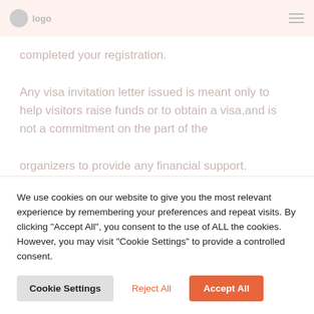completed your registration.
Any visa invitation letter issued is meant only to help visitors raise funds or to obtain a visa,and is not a commitment on the part of the organizers to provide any financial support. Organisers may NOT contact Embassies in support of an individual attempting to gain entry to attend the meeting.
[Figure (other): Loading spinner animation - orange/red rotating dashes circle]
We use cookies on our website to give you the most relevant experience by remembering your preferences and repeat visits. By clicking "Accept All", you consent to the use of ALL the cookies. However, you may visit "Cookie Settings" to provide a controlled consent.